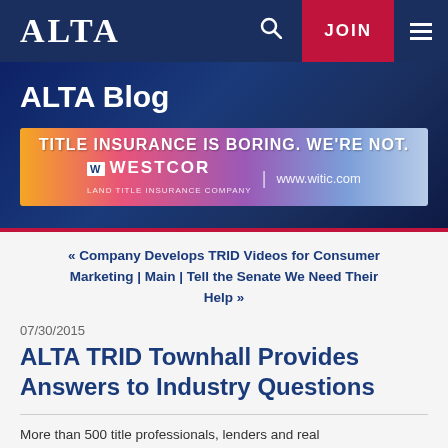ALTA
ALTA Blog
[Figure (illustration): Westcor Land Title Insurance Company advertisement banner: 'TITLE INSURANCE IS BORING. WE'RE NOT.' with colorful gradient background and www.witic.com URL]
« Company Develops TRID Videos for Consumer Marketing | Main | Tell the Senate We Need Their Help »
07/30/2015
ALTA TRID Townhall Provides Answers to Industry Questions
More than 500 title professionals, lenders and real